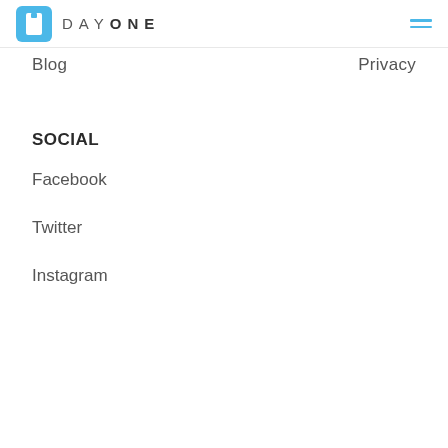DAY ONE
Blog
Privacy
SOCIAL
Facebook
Twitter
Instagram